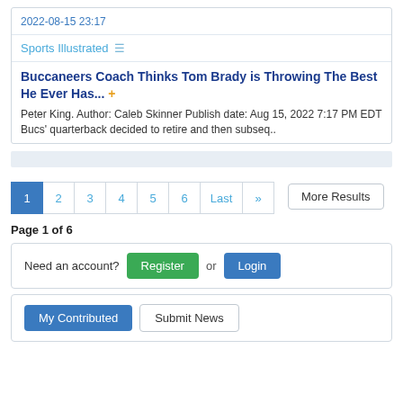2022-08-15 23:17
Sports Illustrated
Buccaneers Coach Thinks Tom Brady is Throwing The Best He Ever Has... +
Peter King. Author: Caleb Skinner Publish date: Aug 15, 2022 7:17 PM EDT Bucs' quarterback decided to retire and then subseq..
1 2 3 4 5 6 Last »
More Results
Page 1 of 6
Need an account? Register or Login
My Contributed Submit News